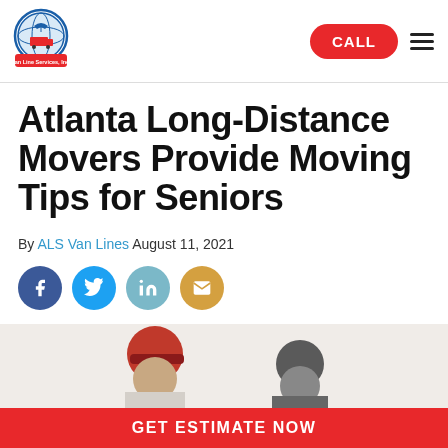[Figure (logo): ALS Van Line Services Inc. circular logo with globe, truck, airplane, and red banner]
CALL
Atlanta Long-Distance Movers Provide Moving Tips for Seniors
By ALS Van Lines August 11, 2021
[Figure (infographic): Social sharing icons: Facebook, Twitter, LinkedIn, Email]
[Figure (photo): Partial photo of two people (movers) at the bottom of the page]
GET ESTIMATE NOW